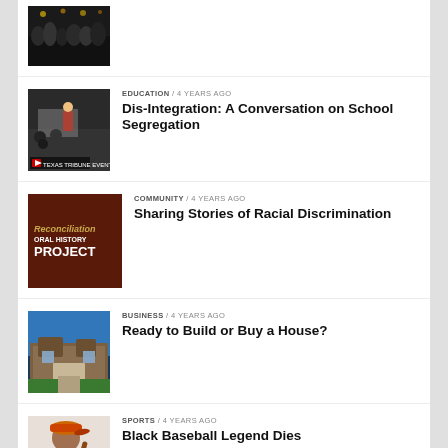[Figure (photo): Top partial article thumbnail showing a crowd scene]
EDUCATION / 4 years ago
Dis-Integration: A Conversation on School Segregation
COMMUNITY / 4 years ago
Sharing Stories of Racial Discrimination
BUSINESS / 4 years ago
Ready to Build or Buy a House?
SPORTS / 4 years ago
Black Baseball Legend Dies